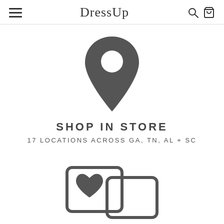DressUp
[Figure (illustration): Map pin / location marker icon in dark gray]
SHOP IN STORE
17 LOCATIONS ACROSS GA, TN, AL + SC
[Figure (illustration): Wishlist / heart on clipboard icon, partially visible at bottom]